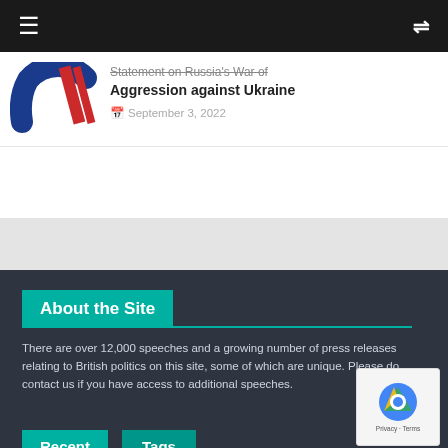≡  ⇌
[Figure (logo): G7 or similar political organization logo with blue and red diagonal design]
Statement on Russia's War of Aggression against Ukraine
September 3, 2022
About the Site
There are over 12,000 speeches and a growing number of press releases relating to British politics on this site, some of which are unique. Please do contact us if you have access to additional speeches.
Recent Posts
Tags